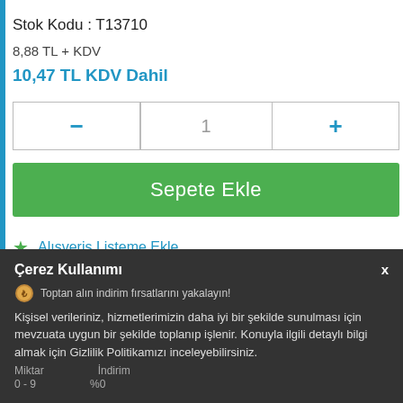Stok Kodu : T13710
8,88 TL + KDV
10,47 TL KDV Dahil
[Figure (screenshot): Quantity selector with minus button, value 1, and plus button]
[Figure (screenshot): Green 'Sepete Ekle' (Add to Cart) button]
Alışveriş Listeme Ekle
20 TL (KDV hariç) ve üzeri alışverişler onaylanmaktadır.
Çerez Kullanımı
Toptan alın indirim fırsatlarını yakalayın!
Kişisel verileriniz, hizmetlerimizin daha iyi bir şekilde sunulması için mevzuata uygun bir şekilde toplanıp işlenir. Konuyla ilgili detaylı bilgi almak için Gizlilik Politikamızı inceleyebilirsiniz.
Miktar    İndirim
0-9         %0